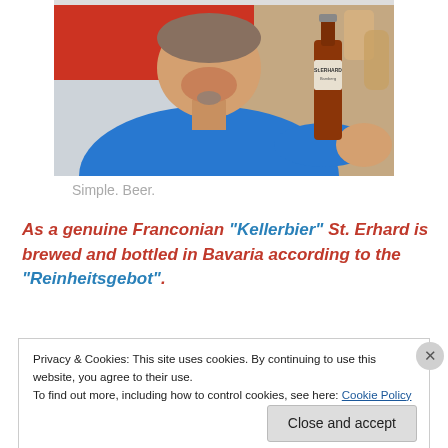[Figure (photo): Man in blue shirt holding a St. Erhard beer bottle toward the camera, smiling. Background shows colorful artwork/sign.]
Simple. Beer.
As a genuine Franconian “Kellerbier” St. Erhard is brewed and bottled in Bavaria according to the “Reinheitsgebot”.
Privacy & Cookies: This site uses cookies. By continuing to use this website, you agree to their use.
To find out more, including how to control cookies, see here: Cookie Policy